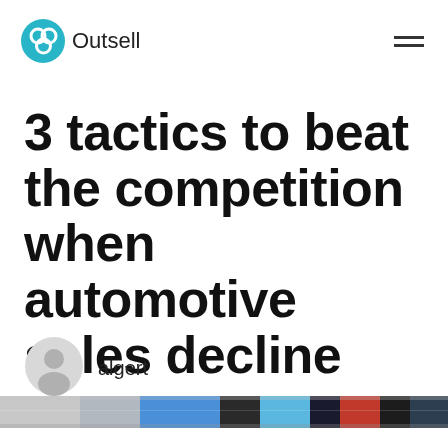[Figure (logo): Outsell logo with teal circular icon and wordmark 'Outsell']
3 tactics to beat the competition when automotive sales decline
algert
[Figure (photo): Blurred colorful horizontal strip image showing cars, partially visible at bottom of page]